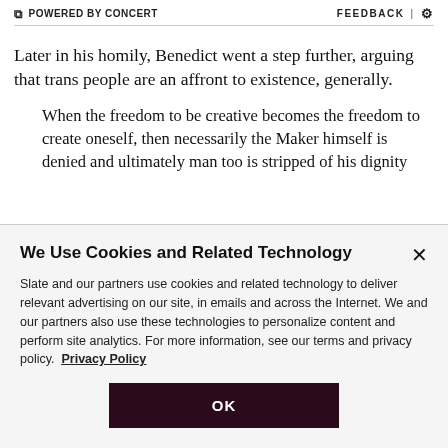POWERED BY CONCERT | FEEDBACK | ⚙
Later in his homily, Benedict went a step further, arguing that trans people are an affront to existence, generally.
When the freedom to be creative becomes the freedom to create oneself, then necessarily the Maker himself is denied and ultimately man too is stripped of his dignity as a creature of God, the image of God...
We Use Cookies and Related Technology
Slate and our partners use cookies and related technology to deliver relevant advertising on our site, in emails and across the Internet. We and our partners also use these technologies to personalize content and perform site analytics. For more information, see our terms and privacy policy. Privacy Policy
OK